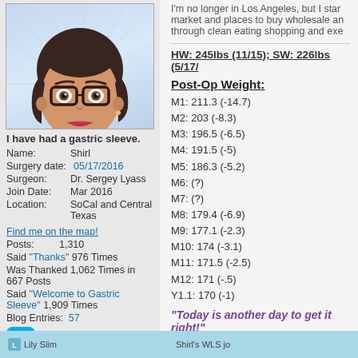[Figure (illustration): Cartoon avatar of a woman with short dark hair, glasses, and a dark red top, with radiating lines in background]
I have had a gastric sleeve.
Name: Shirl
Surgery date: 05/17/2016
Surgeon: Dr. Sergey Lyass
Join Date: Mar 2016
Location: SoCal and Central Texas
Find me on the map!
Posts: 1,310
Said "Thanks" 976 Times
Was Thanked 1,062 Times in 667 Posts
Said "Welcome to Gastric Sleeve" 1,909 Times
Blog Entries: 57
[Figure (logo): Skype icon - blue rounded square with S]
I'm no longer in Los Angeles, but I star market and places to buy wholesale an through clean eating shopping and exe
HW: 245lbs (11/15); SW: 226lbs (5/17/
Post-Op Weight:
M1: 211.3 (-14.7)
M2: 203 (-8.3)
M3: 196.5 (-6.5)
M4: 191.5 (-5)
M5: 186.3 (-5.2)
M6: (?)
M7: (?)
M8: 179.4 (-6.9)
M9: 177.1 (-2.3)
M10: 174 (-3.1)
M11: 171.5 (-2.5)
M12: 171 (-.5)
Y1.1: 170 (-1)
"Today is another day to get it right!"
Lily Slim | Shirl's WLS jo